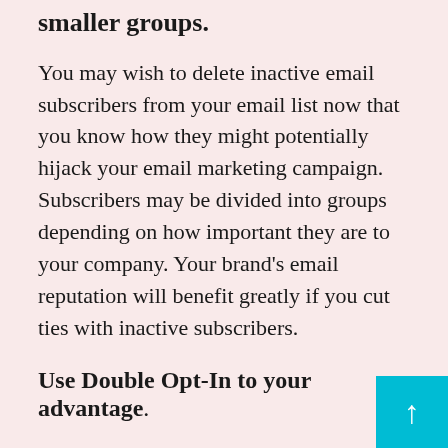smaller groups.
You may wish to delete inactive email subscribers from your email list now that you know how they might potentially hijack your email marketing campaign. Subscribers may be divided into groups depending on how important they are to your company. Your brand’s email reputation will benefit greatly if you cut ties with inactive subscribers.
Use Double Opt-In to your advantage.
Double opt-in is a good way to verify email addresses. When a subscriber signs up for your brand’s promotional emails, it confirms that he